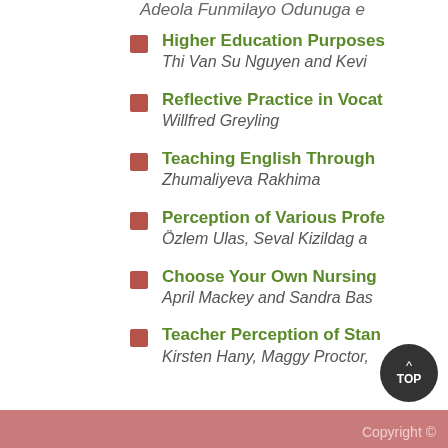Adeola Funmilayo Odunuga e
Higher Education Purposes
Thi Van Su Nguyen and Kevi
Reflective Practice in Vocat
Willfred Greyling
Teaching English Through
Zhumaliyeva Rakhima
Perception of Various Profe
Özlem Ulas, Seval Kizildag a
Choose Your Own Nursing
April Mackey and Sandra Bas
Teacher Perception of Stan
Kirsten Hany, Maggy Proctor,
Copyright ©